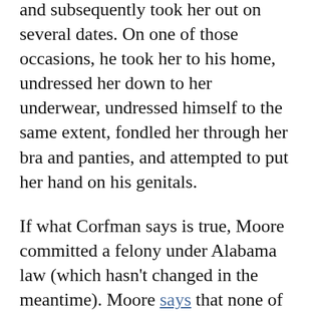and subsequently took her out on several dates. On one of those occasions, he took her to his home, undressed her down to her underwear, undressed himself to the same extent, fondled her through her bra and panties, and attempted to put her hand on his genitals.
If what Corfman says is true, Moore committed a felony under Alabama law (which hasn't changed in the meantime). Moore says that none of it happened: “I never knew this woman. I never met this woman.”
Moore’s defenders say that he ought to be considered innocent until proven guilty, and that a “mere accusation” (as Donald Trump